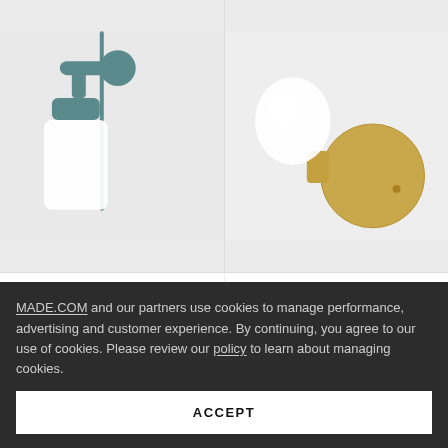[Figure (photo): Colson Plug In Wall Light in Blue (teal) — wall sconce with frosted cylindrical glass shade and teal/blue arm with cord]
Colson
Plug In Wall Light, Blue
£ 36  £ 55
[Figure (photo): Eddis Wall Light in Brushed Brass — compact wall sconce with round brass backplate and frosted globe shade]
Eddis
Wall Light, Brushed Brass
£ 55
MADE.COM and our partners use cookies to manage performance, advertising and customer experience. By continuing, you agree to our use of cookies. Please review our policy to learn about managing cookies.
ACCEPT